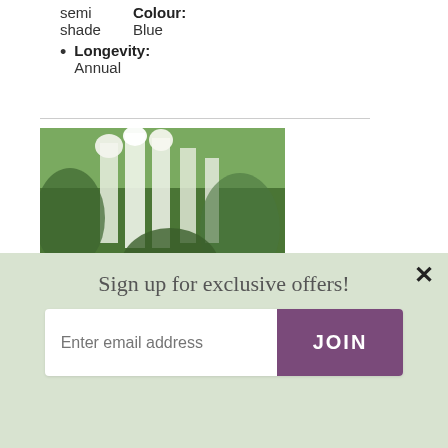semi shade    Colour: Blue
Longevity: Annual
[Figure (photo): Photograph of white flowering Antirrhinum majus (Royal Bride) plants in a garden setting with green foliage background]
Antirrhinum majus 'Royal Bride'
Sign up for exclusive offers!
Enter email address
JOIN